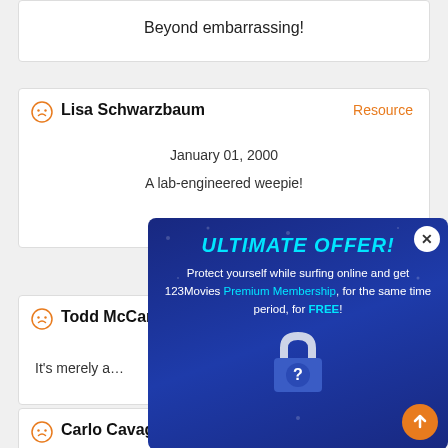Beyond embarrassing!
Lisa Schwarzbaum
Resource
January 01, 2000
A lab-engineered weepie!
Todd McCar…
It's merely a…
Carlo Cavag…
[Figure (screenshot): Popup ad overlay with dark blue background showing 'ULTIMATE OFFER!' in cyan text, body text about protecting yourself online and getting 123Movies Premium Membership for FREE, with a lock icon and scroll-up button]